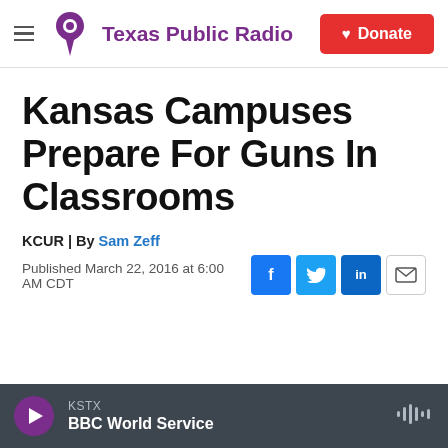Texas Public Radio | Donate
Kansas Campuses Prepare For Guns In Classrooms
KCUR | By Sam Zeff
Published March 22, 2016 at 6:00 AM CDT
[Figure (other): Social share buttons: Facebook, Twitter, LinkedIn, Email]
KSTX | BBC World Service (audio player)